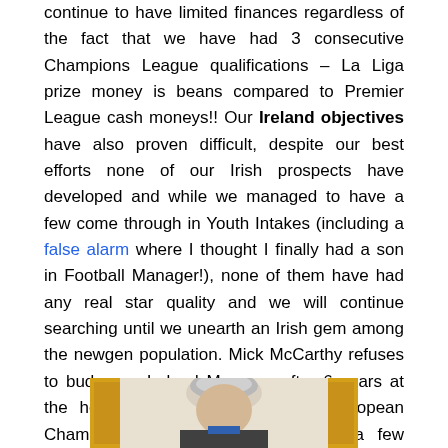continue to have limited finances regardless of the fact that we have had 3 consecutive Champions League qualifications – La Liga prize money is beans compared to Premier League cash moneys!! Our Ireland objectives have also proven difficult, despite our best efforts none of our Irish prospects have developed and while we managed to have a few come through in Youth Intakes (including a false alarm where I thought I finally had a son in Football Manager!), none of them have had any real star quality and we will continue searching until we unearth an Irish gem among the newgen population. Mick McCarthy refuses to budge as Ireland Manager after 6 years at the helm, however the upcoming European Championship qualifiers might rattle a few cages at the FAI HQ in Dublin so it's eyes emoji in this space 👀.
[Figure (photo): Partial photo of a person at the bottom of the page, appears to be a man with grey/white hair against a yellow background]